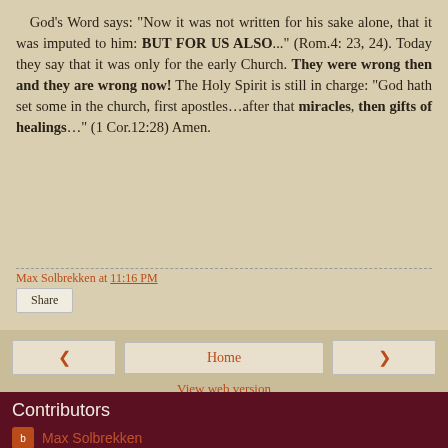God's Word says: “Now it was not written for his sake alone, that it was imputed to him: BUT FOR US ALSO…” (Rom.4: 23, 24). Today they say that it was only for the early Church. They were wrong then and they are wrong now! The Holy Spirit is still in charge: “God hath set some in the church, first apostles…after that miracles, then gifts of healings…” (1 Cor.12:28) Amen.
Max Solbrekken at 11:16 PM
Share
Home
View web version
Contributors
Max Solbrekken